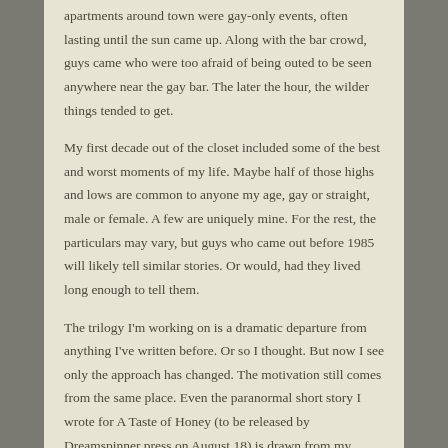apartments around town were gay-only events, often lasting until the sun came up. Along with the bar crowd, guys came who were too afraid of being outed to be seen anywhere near the gay bar. The later the hour, the wilder things tended to get.
My first decade out of the closet included some of the best and worst moments of my life. Maybe half of those highs and lows are common to anyone my age, gay or straight, male or female. A few are uniquely mine. For the rest, the particulars may vary, but guys who came out before 1985 will likely tell similar stories. Or would, had they lived long enough to tell them.
The trilogy I'm working on is a dramatic departure from anything I've written before. Or so I thought. But now I see only the approach has changed. The motivation still comes from the same place. Even the paranormal short story I wrote for A Taste of Honey (to be released by Dreamspinner press on August 18) is drawn from my experience.
From the earliest drafts of my first novel, I've resisted labels others have applied to my writing. Though I might not have known who I